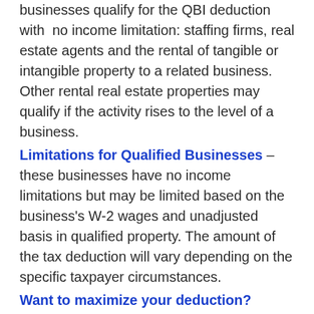businesses qualify for the QBI deduction with no income limitation: staffing firms, real estate agents and the rental of tangible or intangible property to a related business. Other rental real estate properties may qualify if the activity rises to the level of a business.
Limitations for Qualified Businesses – these businesses have no income limitations but may be limited based on the business's W-2 wages and unadjusted basis in qualified property. The amount of the tax deduction will vary depending on the specific taxpayer circumstances.
Want to maximize your deduction?
Whether your business is a Qualified Business